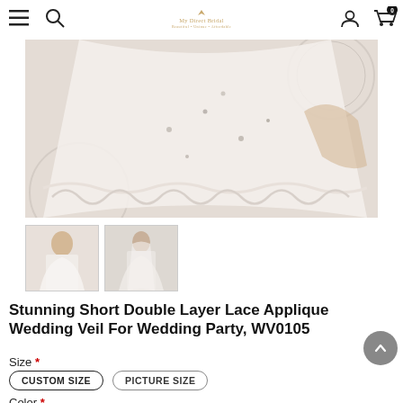Navigation bar with menu, search, logo, user and cart icons
[Figure (photo): Main product image: close-up of a white lace applique wedding veil with embroidered edges and scattered embellishments, held by a person on a decorative background]
[Figure (photo): Thumbnail 1: Full view of bride wearing white wedding veil from front]
[Figure (photo): Thumbnail 2: Back view of bride wearing white layered wedding veil]
Stunning Short Double Layer Lace Applique Wedding Veil For Wedding Party, WV0105
Size *
CUSTOM SIZE
PICTURE SIZE
Color *